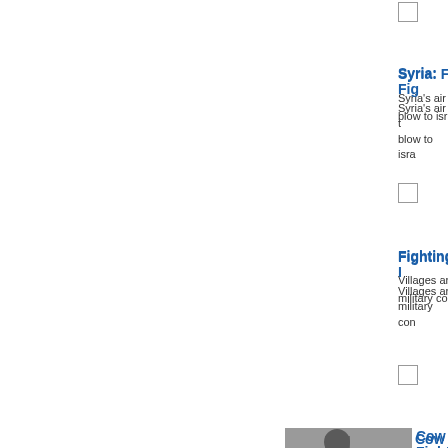[Figure (other): Checkbox (unchecked) at top right area]
Syria: Figh...
Syria's air ... blow to isra...
[Figure (other): Checkbox (unchecked)]
Fighting I...
Villages ar... military con...
[Figure (other): Checkbox (unchecked)]
[Figure (photo): Black and white photo of a stone building with a dome/tower, town square scene]
Cow Fight...
'Ladies Da... Labastine D... France,...
[Figure (other): Checkbox (unchecked)]
[Figure (photo): Black and white photo of people in a street scene, possibly soldiers or crowd]
Cyprus: Fi...
THE TOWNM... SOUTHWE... REPORTED...